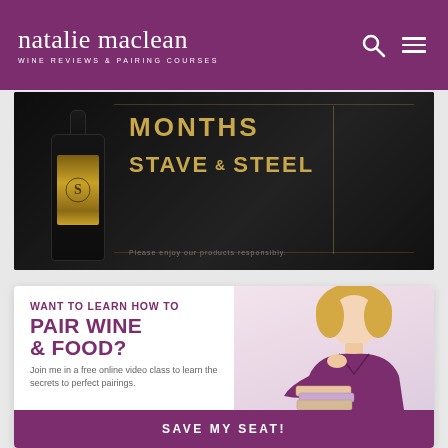natalie maclean — WINE REVIEWS & PAIRING COURSES
[Figure (photo): Advertisement banner for Stave & Steel wine featuring a dark wine bottle with gold label on a black background, with text 'MONTHS' and 'STAVE & STEEL' in gold lettering]
[Figure (infographic): Promotional card: 'WANT TO LEARN HOW TO PAIR WINE & FOOD? Join me in a free online video class to learn the secrets to perfect pairings.' with photo of blonde woman in purple top leaning on books, and a 'SAVE MY SEAT!' button in purple]